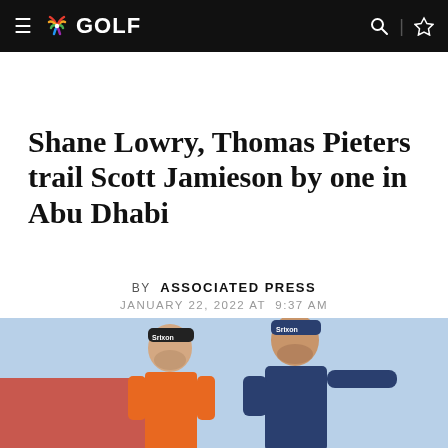NBC GOLF
Shane Lowry, Thomas Pieters trail Scott Jamieson by one in Abu Dhabi
BY ASSOCIATED PRESS
JANUARY 22, 2022 AT 9:37 AM
[Figure (photo): Two men wearing Srixon caps — a caddie in an orange vest and a golfer in navy blue polo — on a golf course in Abu Dhabi. The golfer is pointing to the right.]